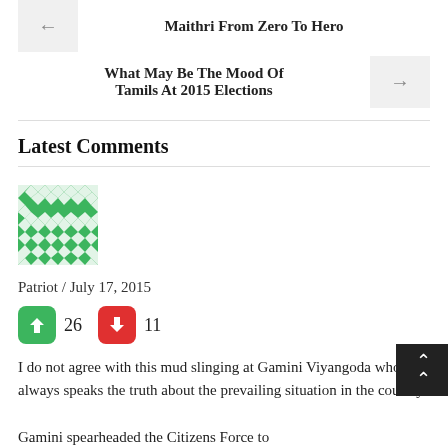← Maithri From Zero To Hero
What May Be The Mood Of Tamils At 2015 Elections →
Latest Comments
[Figure (illustration): Green geometric patterned avatar icon for user Patriot]
Patriot / July 17, 2015
👍 26  👎 11
I do not agree with this mud slinging at Gamini Viyangoda who always speaks the truth about the prevailing situation in the country.
Gamini spearheaded the Citizens Force to